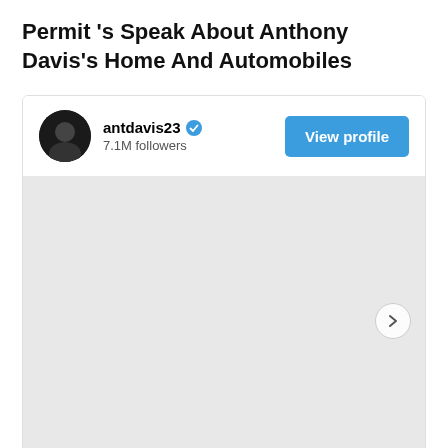Permit 's Speak About Anthony Davis's Home And Automobiles
[Figure (screenshot): Instagram profile card for antdavis23 showing profile avatar, username, verified badge, 7.1M followers count, a blue 'View profile' button, and a large gray image placeholder area with a right navigation arrow.]